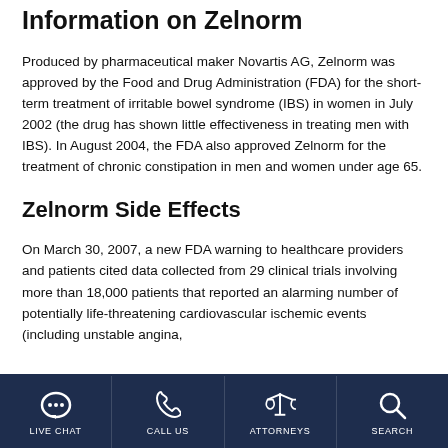Information on Zelnorm
Produced by pharmaceutical maker Novartis AG, Zelnorm was approved by the Food and Drug Administration (FDA) for the short-term treatment of irritable bowel syndrome (IBS) in women in July 2002 (the drug has shown little effectiveness in treating men with IBS). In August 2004, the FDA also approved Zelnorm for the treatment of chronic constipation in men and women under age 65.
Zelnorm Side Effects
On March 30, 2007, a new FDA warning to healthcare providers and patients cited data collected from 29 clinical trials involving more than 18,000 patients that reported an alarming number of potentially life-threatening cardiovascular ischemic events (including unstable angina,
LIVE CHAT | CALL US | ATTORNEYS | SEARCH